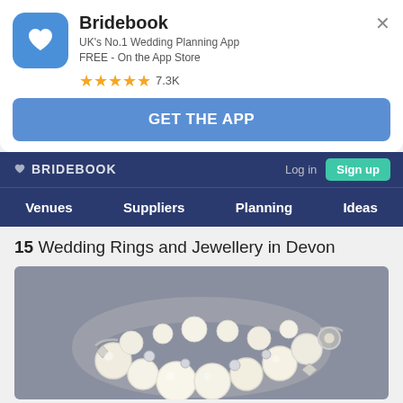[Figure (screenshot): Bridebook app icon: blue rounded square with white heart/letter B logo]
Bridebook
UK's No.1 Wedding Planning App
FREE - On the App Store
★★★★★ 7.3K
GET THE APP
BRIDEBOOK   Log in   Sign up
Venues   Suppliers   Planning   Ideas
15 Wedding Rings and Jewellery in Devon
[Figure (photo): Photo of a pearl and crystal charm bracelet on a grey surface]